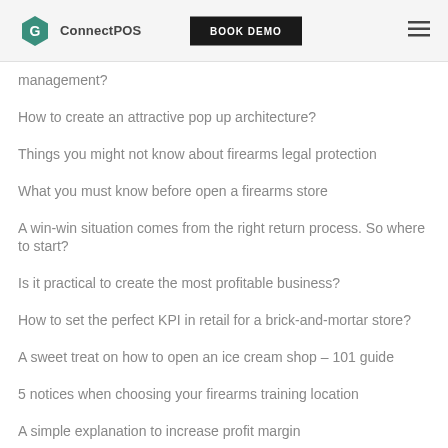ConnectPOS | BOOK DEMO
management?
How to create an attractive pop up architecture?
Things you might not know about firearms legal protection
What you must know before open a firearms store
A win-win situation comes from the right return process. So where to start?
Is it practical to create the most profitable business?
How to set the perfect KPI in retail for a brick-and-mortar store?
A sweet treat on how to open an ice cream shop – 101 guide
5 notices when choosing your firearms training location
A simple explanation to increase profit margin